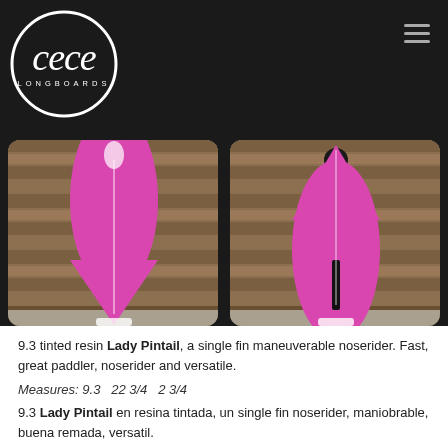[Figure (logo): Cece Longboards circular logo in white on black background]
[Figure (photo): Two pink Lady Pintail surfboards photographed against a rustic wooden wall background — left image shows nose, right image shows tail with fin box]
9.3 tinted resin Lady Pintail, a single fin maneuverable noserider. Fast, great paddler, noserider and versatile.
Measures: 9.3   22 3/4   2 3/4
9.3 Lady Pintail en resina tintada, un single fin noserider, maniobrable, buena remada, versatil.